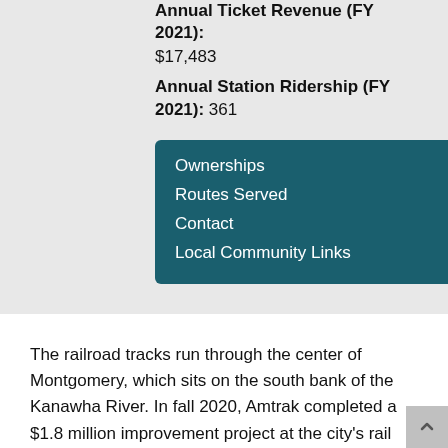Annual Ticket Revenue (FY 2021): $17,483
Annual Station Ridership (FY 2021): 361
Ownerships
Routes Served
Contact
Local Community Links
The railroad tracks run through the center of Montgomery, which sits on the south bank of the Kanawha River. In fall 2020, Amtrak completed a $1.8 million improvement project at the city's rail station. The company installed a new concrete platform with tactile edging, access stairs and ramps that ensure the facility